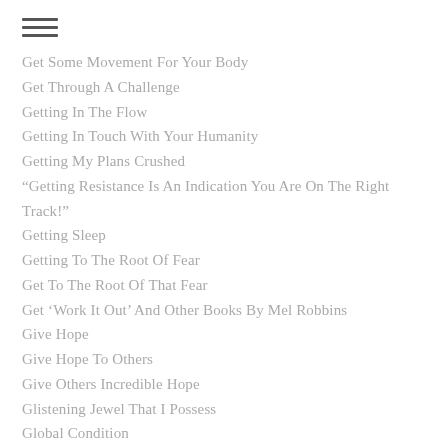Get Some Movement For Your Body
Get Through A Challenge
Getting In The Flow
Getting In Touch With Your Humanity
Getting My Plans Crushed
“Getting Resistance Is An Indication You Are On The Right Track!”
Getting Sleep
Getting To The Root Of Fear
Get To The Root Of That Fear
Get ‘Work It Out’ And Other Books By Mel Robbins
Give Hope
Give Hope To Others
Give Others Incredible Hope
Glistening Jewel That I Possess
Global Condition
Go Back In Time
Go For Higher